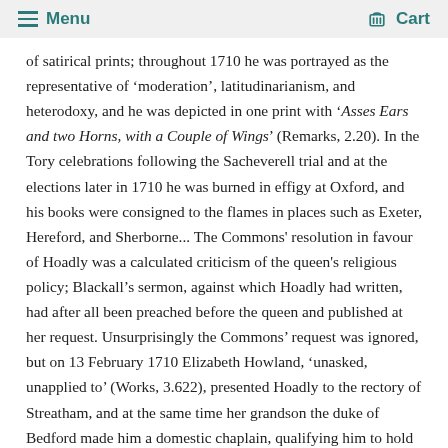Menu   Cart
of satirical prints; throughout 1710 he was portrayed as the representative of ‘moderation’, latitudinarianism, and heterodoxy, and he was depicted in one print with ‘Asses Ears and two Horns, with a Couple of Wings’ (Remarks, 2.20). In the Tory celebrations following the Sacheverell trial and at the elections later in 1710 he was burned in effigy at Oxford, and his books were consigned to the flames in places such as Exeter, Hereford, and Sherborne... The Commons' resolution in favour of Hoadly was a calculated criticism of the queen's religious policy; Blackall’s sermon, against which Hoadly had written, had after all been preached before the queen and published at her request. Unsurprisingly the Commons’ request was ignored, but on 13 February 1710 Elizabeth Howland, ‘unasked, unapplied to’ (Works, 3.622), presented Hoadly to the rectory of Streatham, and at the same time her grandson the duke of Bedford made him a domestic chaplain, qualifying him to hold the living in